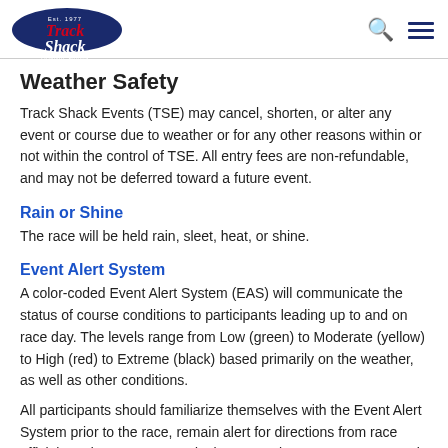Track Shack — Est. 1977, Orlando, Florida
Weather Safety
Track Shack Events (TSE) may cancel, shorten, or alter any event or course due to weather or for any other reasons within or not within the control of TSE. All entry fees are non-refundable, and may not be deferred toward a future event.
Rain or Shine
The race will be held rain, sleet, heat, or shine.
Event Alert System
A color-coded Event Alert System (EAS) will communicate the status of course conditions to participants leading up to and on race day. The levels range from Low (green) to Moderate (yellow) to High (red) to Extreme (black) based primarily on the weather, as well as other conditions.
All participants should familiarize themselves with the Event Alert System prior to the race, remain alert for directions from race officials and announcers and take precautions to prepare properly for varying weather conditions on race day.